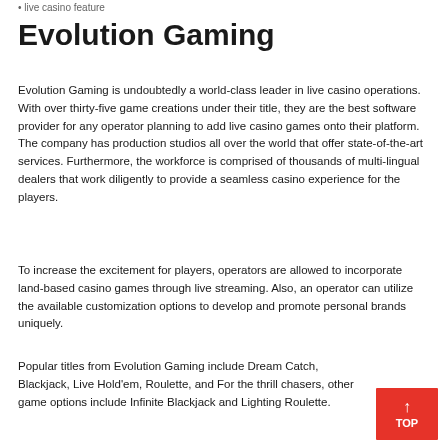• live casino feature
Evolution Gaming
Evolution Gaming is undoubtedly a world-class leader in live casino operations. With over thirty-five game creations under their title, they are the best software provider for any operator planning to add live casino games onto their platform. The company has production studios all over the world that offer state-of-the-art services. Furthermore, the workforce is comprised of thousands of multi-lingual dealers that work diligently to provide a seamless casino experience for the players.
To increase the excitement for players, operators are allowed to incorporate land-based casino games through live streaming. Also, an operator can utilize the available customization options to develop and promote personal brands uniquely.
Popular titles from Evolution Gaming include Dream Catch, Blackjack, Live Hold'em, Roulette, and For the thrill chasers, other game options include Infinite Blackjack and Lighting Roulette.